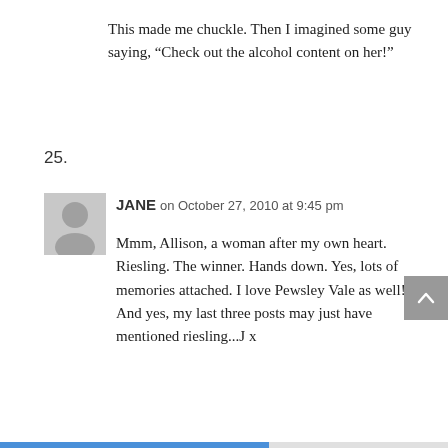This made me chuckle. Then I imagined some guy saying, “Check out the alcohol content on her!”
25.
JANE on October 27, 2010 at 9:45 pm
Mmm, Allison, a woman after my own heart. Riesling. The winner. Hands down. Yes, lots of memories attached. I love Pewsley Vale as well! And yes, my last three posts may just have mentioned riesling...J x